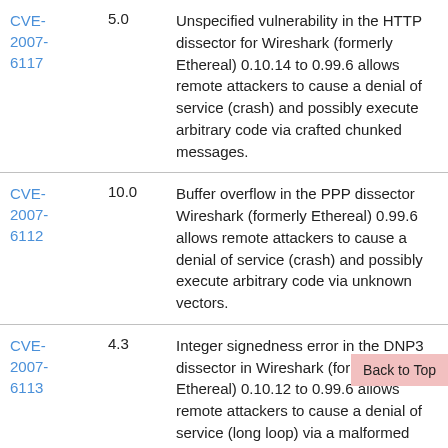| CVE | Score | Description |
| --- | --- | --- |
| CVE-2007-6117 | 5.0 | Unspecified vulnerability in the HTTP dissector for Wireshark (formerly Ethereal) 0.10.14 to 0.99.6 allows remote attackers to cause a denial of service (crash) and possibly execute arbitrary code via crafted chunked messages. |
| CVE-2007-6112 | 10.0 | Buffer overflow in the PPP dissector Wireshark (formerly Ethereal) 0.99.6 allows remote attackers to cause a denial of service (crash) and possibly execute arbitrary code via unknown vectors. |
| CVE-2007-6113 | 4.3 | Integer signedness error in the DNP3 dissector in Wireshark (formerly Ethereal) 0.10.12 to 0.99.6 allows remote attackers to cause a denial of service (long loop) via a malformed DNP3 packet. |
| CVE- | 7.1 | Multiple unspecified vulnerabilities in |